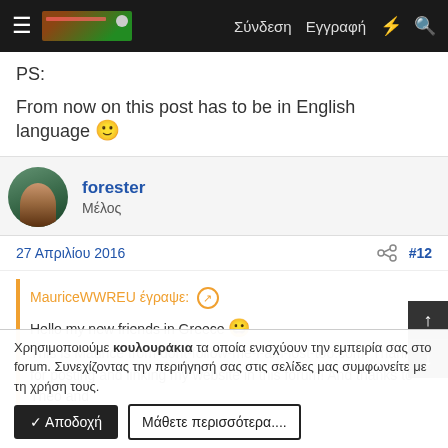≡  [logo]  Σύνδεση  Εγγραφή  ⚡  🔍
PS:
From now on this post has to be in English language 🙂
forester
Μέλος
27 Απριλίου 2016   #12
MauriceWWREU έγραψε: ↗
Hello my new friends in Greece 😀
This is Maurice from dont-follow-me-i-am-lost-too.com! Thanks for posting and linking my website in this forum! And thanks to Theo and
Χρησιμοποιούμε κουλουράκια τα οποία ενισχύουν την εμπειρία σας στο forum. Συνεχίζοντας την περιήγησή σας στις σελίδες μας συμφωνείτε με τη χρήση τους.